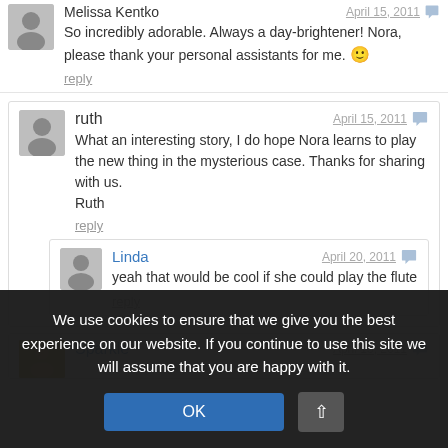Melissa Kentko — April 15, 2011 — So incredibly adorable. Always a day-brightener! Nora, please thank your personal assistants for me. 🙂
reply
ruth — April 15, 2011 — What an interesting story, I do hope Nora learns to play the new thing in the mysterious case. Thanks for sharing with us. Ruth
reply
Linda — April 20, 2011 — yeah that would be cool if she could play the flute
reply
Sparkle — April 15, 2011
We use cookies to ensure that we give you the best experience on our website. If you continue to use this site we will assume that you are happy with it.